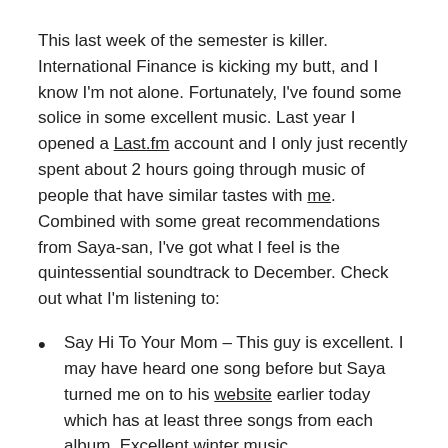This last week of the semester is killer. International Finance is kicking my butt, and I know I'm not alone. Fortunately, I've found some solice in some excellent music. Last year I opened a Last.fm account and I only just recently spent about 2 hours going through music of people that have similar tastes with me. Combined with some great recommendations from Saya-san, I've got what I feel is the quintessential soundtrack to December. Check out what I'm listening to:
Say Hi To Your Mom – This guy is excellent. I may have heard one song before but Saya turned me on to his website earlier today which has at least three songs from each album. Excellent winter music.
TV on the Radio – I have trouble describing these guys. Noisy, organic, loud, a little like Peter Gabriel with synths. Preview their songs on Last.fm here.